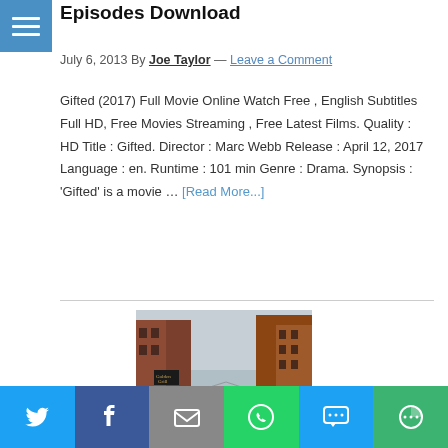Episodes Download
July 6, 2013 By Joe Taylor — Leave a Comment
Gifted (2017) Full Movie Online Watch Free , English Subtitles Full HD, Free Movies Streaming , Free Latest Films. Quality : HD Title : Gifted. Director : Marc Webb Release : April 12, 2017 Language : en. Runtime : 101 min Genre : Drama. Synopsis : 'Gifted' is a movie … [Read More...]
[Figure (photo): Street scene with brick buildings, shops, and pedestrians on a busy city street]
[Figure (infographic): Social media share bar with Twitter, Facebook, Email, WhatsApp, SMS, and More buttons]